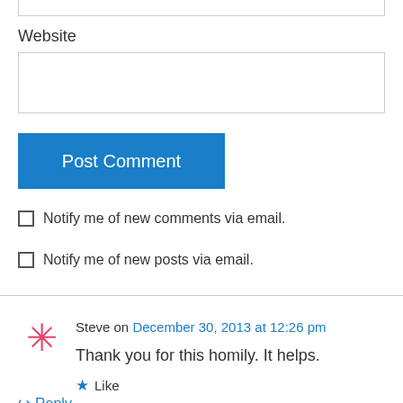Website
[Figure (screenshot): Website text input field (empty)]
[Figure (screenshot): Post Comment button (blue)]
Notify me of new comments via email.
Notify me of new posts via email.
Steve on December 30, 2013 at 12:26 pm
Thank you for this homily. It helps.
Like
Reply